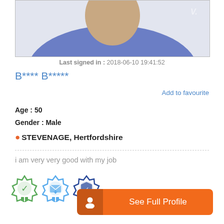[Figure (photo): Profile photo showing person in blue shirt, partially cropped at top]
Last signed in : 2018-06-10 19:41:52
B**** B*****
Add to favourite
Age : 50
Gender : Male
STEVENAGE, Hertfordshire
i am very very good with my job
[Figure (illustration): Three badge icons: green checkmark badge, blue envelope/gift badge, dark blue shield badge]
See Full Profile